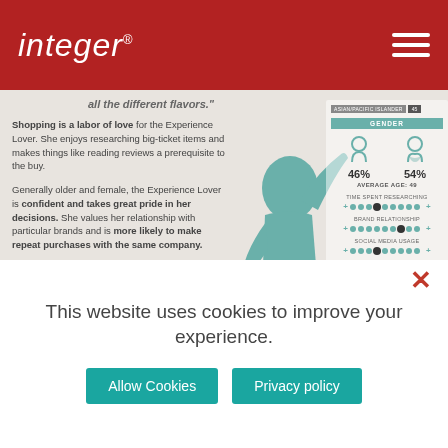integer
all the different flavors.
Shopping is a labor of love for the Experience Lover. She enjoys researching big-ticket items and makes things like reading reviews a prerequisite to the buy.

Generally older and female, the Experience Lover is confident and takes great pride in her decisions. She values her relationship with particular brands and is more likely to make repeat purchases with the same company.
[Figure (infographic): Teal silhouette of a person with arm raised, gender breakdown showing 46% male 54% female, average age 49, and three scale bars for time spent researching, brand relationship, and social media usage]
+ SHOPPING EMOTIONS
HOW TO ENGAGE HER
This website uses cookies to improve your experience.
Allow Cookies
Privacy policy